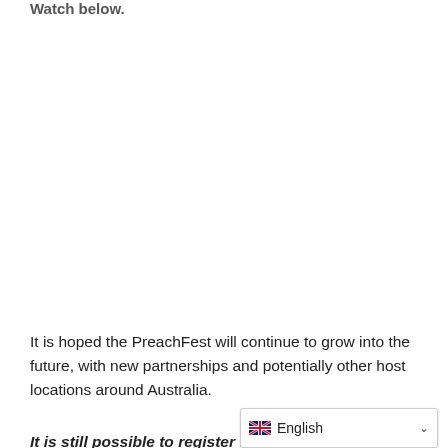Watch below.
It is hoped the PreachFest will continue to grow into the future, with new partnerships and potentially other host locations around Australia.
It is still possible to register to r...